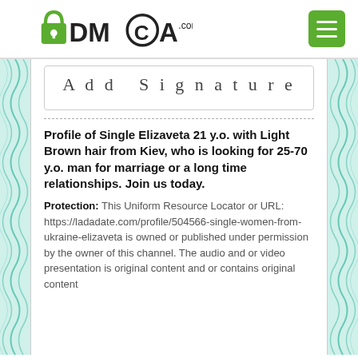[Figure (logo): DMCA.com logo with padlock icon and green menu button]
Add Signature
Profile of Single Elizaveta 21 y.o. with Light Brown hair from Kiev, who is looking for 25-70 y.o. man for marriage or a long time relationships. Join us today.
Protection: This Uniform Resource Locator or URL: https://ladadate.com/profile/504566-single-women-from-ukraine-elizaveta is owned or published under permission by the owner of this channel. The audio and or video presentation is original content and or contains original content